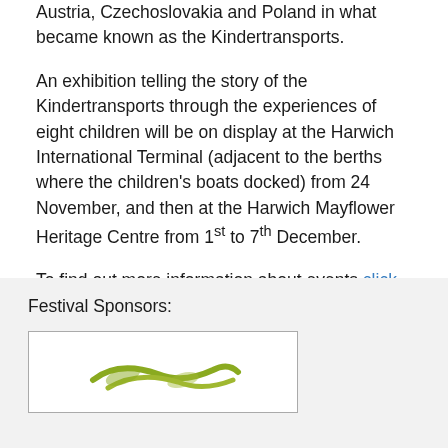Austria, Czechoslovakia and Poland in what became known as the Kindertransports.
An exhibition telling the story of the Kindertransports through the experiences of eight children will be on display at the Harwich International Terminal (adjacent to the berths where the children's boats docked) from 24 November, and then at the Harwich Mayflower Heritage Centre from 1st to 7th December.
To find out more information about events click here
Festival Sponsors:
[Figure (logo): Logo with olive/yellow-green brush stroke or leaf shapes on white background inside a bordered box]